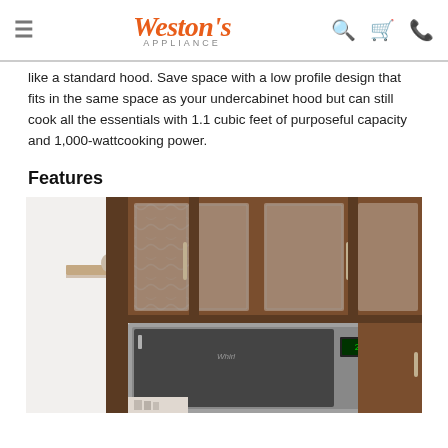Weston's Appliance
like a standard hood. Save space with a low profile design that fits in the same space as your undercabinet hood but can still cook all the essentials with 1.1 cubic feet of purposeful capacity and 1,000-wattcooking power.
Features
[Figure (photo): Kitchen cabinet interior photo showing dark wood cabinets with glass-front doors, a floating wood shelf, and a built-in stainless steel microwave oven installed under the upper cabinets.]